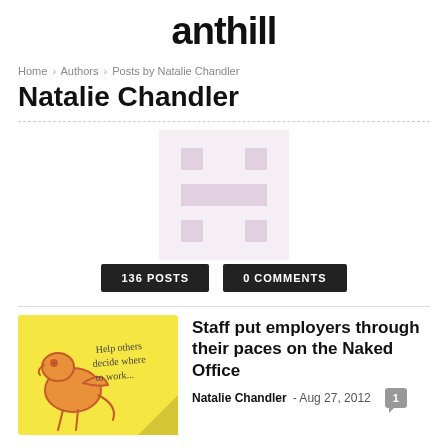anthill
Home › Authors › Posts by Natalie Chandler
Natalie Chandler
[Figure (logo): Anthill placeholder avatar with stylized H-shaped logo in light pink/mauve on white background]
136 POSTS   0 COMMENTS
[Figure (photo): Thumbnail image showing a cartoon bird on a yellow sticky note reading Help others decide where to work...]
Staff put employers through their paces on the Naked Office
Natalie Chandler - Aug 27, 2012